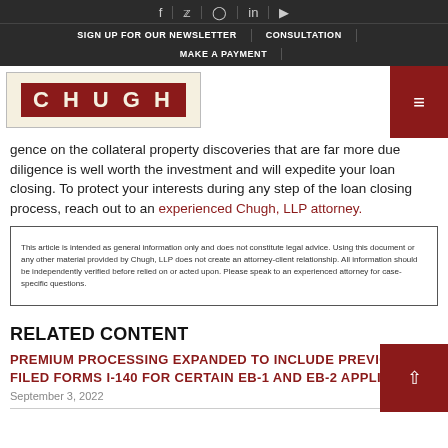SIGN UP FOR OUR NEWSLETTER | CONSULTATION | MAKE A PAYMENT
[Figure (logo): Chugh LLP logo — red rectangle with white letters C H U G H on cream background]
gence on the collateral property discoveries that are far more due diligence is well worth the investment and will expedite your loan closing. To protect your interests during any step of the loan closing process, reach out to an experienced Chugh, LLP attorney.
This article is intended as general information only and does not constitute legal advice. Using this document or any other material provided by Chugh, LLP does not create an attorney-client relationship. All information should be independently verified before relied on or acted upon. Please speak to an experienced attorney for case-specific questions.
RELATED CONTENT
PREMIUM PROCESSING EXPANDED TO INCLUDE PREVIOUSLY FILED FORMS I-140 FOR CERTAIN EB-1 AND EB-2 APPLICANTS
September 3, 2022